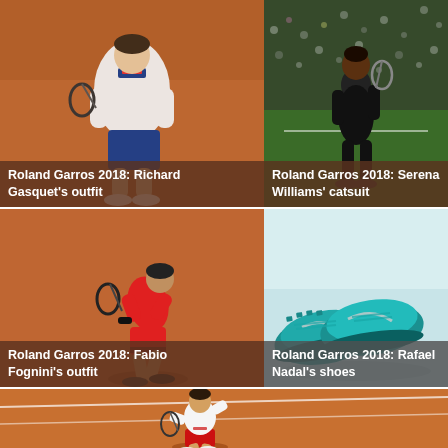[Figure (photo): Roland Garros 2018: Richard Gasquet playing tennis on a clay court, wearing a white polo shirt with blue and red accents]
Roland Garros 2018: Richard Gasquet's outfit
[Figure (photo): Roland Garros 2018: Serena Williams wearing her famous black catsuit at Roland Garros, crowd in background]
Roland Garros 2018: Serena Williams' catsuit
[Figure (photo): Roland Garros 2018: Fabio Fognini running on clay court wearing a red outfit and dark hat, swinging racket]
Roland Garros 2018: Fabio Fognini's outfit
[Figure (photo): Roland Garros 2018: Rafael Nadal's Nike teal/blue tennis shoes on white background]
Roland Garros 2018: Rafael Nadal's shoes
[Figure (photo): Roland Garros 2018: Novak Djokovic running on a clay court wearing white shirt and red shorts, chasing a ball]